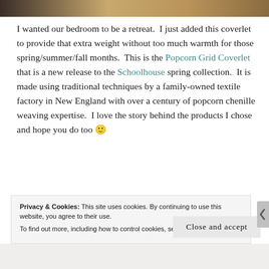[Figure (photo): Partial photo strip at top of page showing dark and warm-toned colors, appears to be a bedroom scene]
I wanted our bedroom to be a retreat.  I just added this coverlet to provide that extra weight without too much warmth for those spring/summer/fall months.  This is the Popcorn Grid Coverlet that is a new release to the Schoolhouse spring collection.  It is made using traditional techniques by a family-owned textile factory in New England with over a century of popcorn chenille weaving expertise.  I love the story behind the products I chose and hope you do too 🙂
Privacy & Cookies: This site uses cookies. By continuing to use this website, you agree to their use.
To find out more, including how to control cookies, see here: Cookie Policy
Close and accept